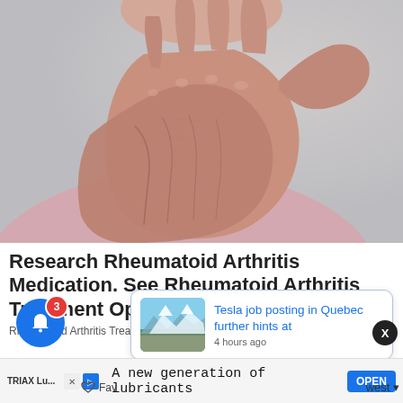[Figure (photo): Close-up photograph of an elderly person's hands, one hand pressing/rubbing the other, showing signs of joint pain or arthritis. Person wearing a light pink top. Blurred background.]
Research Rheumatoid Arthritis Medication. See Rheumatoid Arthritis Treatment Options
Rheumatoid Arthritis Treatment | Yahoo Search
[Figure (photo): Small thumbnail image of a mountain landscape with snow, used in a news popup card.]
Tesla job posting in Quebec further hints at
4 hours ago
TRIAX Lu...
A new generation of lubricants
OPEN
Fav
west